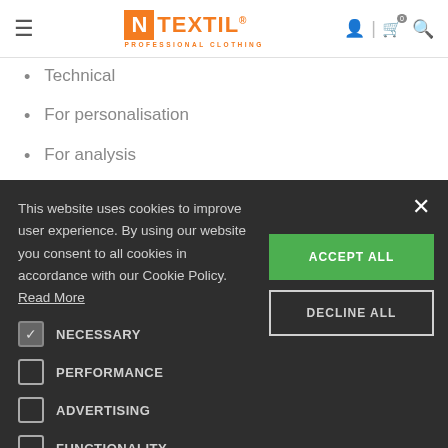N TEXTIL PROFESSIONAL CLOTHING
Technical
For personalisation
For analysis
This website uses cookies to improve user experience. By using our website you consent to all cookies in accordance with our Cookie Policy. Read More
NECESSARY
PERFORMANCE
ADVERTISING
FUNCTIONALITY